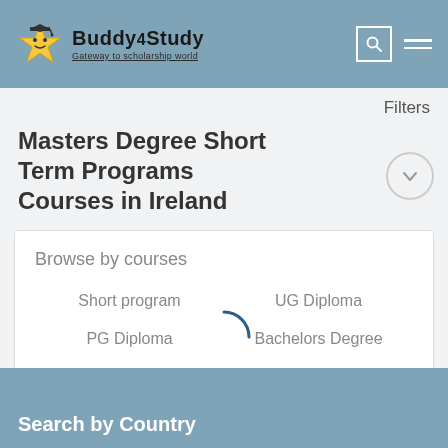[Figure (logo): Buddy4Study logo with star mascot and tagline 'Gateway to scholarship world']
Filters
Masters Degree Short Term Programs Courses in Ireland
Browse by courses
Short program
UG Diploma
PG Diploma
Bachelors Degree
Masters Degree
PhD
Search by Country